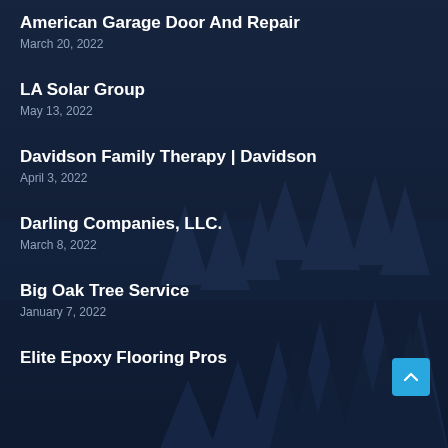American Garage Door And Repair
March 20, 2022
LA Solar Group
May 13, 2022
Davidson Family Therapy | Davidson
April 3, 2022
Darling Companies, LLC.
March 8, 2022
Big Oak Tree Service
January 7, 2022
Elite Epoxy Flooring Pros